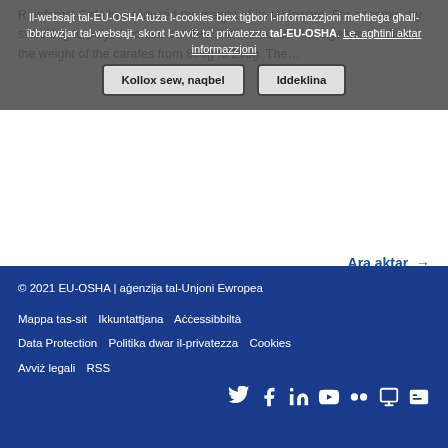Rainforest Café has reduced the weight of its tableware. For example, by switching to polycarbonate carafes, the restaurant management reduced the weight of the carafes from 800g to 290g. The...
Cookie overlay: Il-websajt tal-EU-OSHA tuża l-cookies biex tiġbor l-informazzjoni meħtieġa għall-ibbrawżjar tal-websajt, skont l-avviż ta' privatezza tal-EU-OSHA. Le, agħtini aktar informazzjoni | Kollox sew, naqbel | Iddeklina
Ara aktar →
© 2021 EU-OSHA | aġenzija tal-Unjoni Ewropea
Mappa tas-sit   Ikkuntattjana   Aċċessibbiltà
Data Protection   Politika dwar il-privatezza   Cookies
Avviż legali   RSS